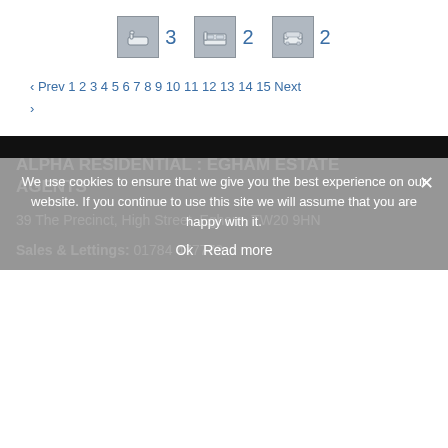[Figure (infographic): Three icon groups showing property features: bath icon with number 3, bed icon with number 2, sofa/living room icon with number 2]
‹ Prev 1 2 3 4 5 6 7 8 9 10 11 12 13 14 15 Next ›
ALPHA RESIDENTIAL : EGHAM ESTATE AGENTS
39 The Precinct, High Street, Egham, TW20 9HN
Sales & Lettings: 01784 477772
We use cookies to ensure that we give you the best experience on our website. If you continue to use this site we will assume that you are happy with it.
Ok   Read more